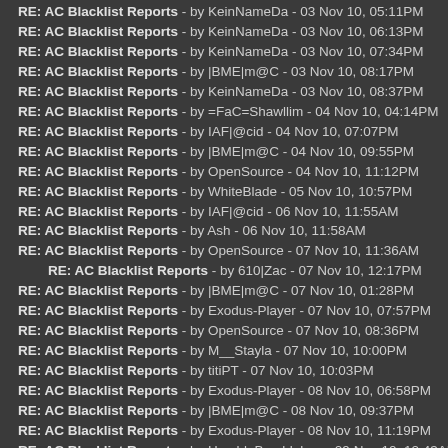RE: AC Blacklist Reports - by KeinNameDa - 03 Nov 10, 05:11PM
RE: AC Blacklist Reports - by KeinNameDa - 03 Nov 10, 06:13PM
RE: AC Blacklist Reports - by KeinNameDa - 03 Nov 10, 07:34PM
RE: AC Blacklist Reports - by |BME|m@C - 03 Nov 10, 08:17PM
RE: AC Blacklist Reports - by KeinNameDa - 03 Nov 10, 08:37PM
RE: AC Blacklist Reports - by =FaC=Shawllim - 04 Nov 10, 04:14PM
RE: AC Blacklist Reports - by IAF|@cid - 04 Nov 10, 07:07PM
RE: AC Blacklist Reports - by |BME|m@C - 04 Nov 10, 09:55PM
RE: AC Blacklist Reports - by OpenSource - 04 Nov 10, 11:12PM
RE: AC Blacklist Reports - by WhiteBlade - 05 Nov 10, 10:57PM
RE: AC Blacklist Reports - by IAF|@cid - 06 Nov 10, 11:55AM
RE: AC Blacklist Reports - by Ash - 06 Nov 10, 11:58AM
RE: AC Blacklist Reports - by OpenSource - 07 Nov 10, 11:36AM
RE: AC Blacklist Reports - by 610|Zac - 07 Nov 10, 12:17PM
RE: AC Blacklist Reports - by |BME|m@C - 07 Nov 10, 01:28PM
RE: AC Blacklist Reports - by Exodus-Player - 07 Nov 10, 07:57PM
RE: AC Blacklist Reports - by OpenSource - 07 Nov 10, 08:36PM
RE: AC Blacklist Reports - by M__Stayla - 07 Nov 10, 10:00PM
RE: AC Blacklist Reports - by titiPT - 07 Nov 10, 10:03PM
RE: AC Blacklist Reports - by Exodus-Player - 08 Nov 10, 06:58PM
RE: AC Blacklist Reports - by |BME|m@C - 08 Nov 10, 09:37PM
RE: AC Blacklist Reports - by Exodus-Player - 08 Nov 10, 11:19PM
RE: AC Blacklist Reports - by HumbleBumblebee - 09 Nov 10, 12:43AM
RE: AC Blacklist Reports - by Exodus-Player - 10 Nov 10, 06:54PM
RE: AC Blacklist Reports - by Vanquo - 10 Nov 10, 12:30PM